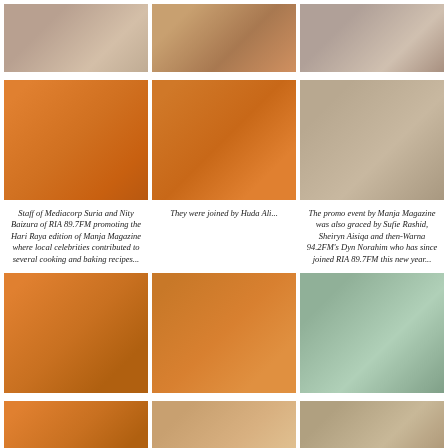[Figure (photo): Three photos in a row showing people at an event, top row]
[Figure (photo): Three photos in a row showing people at an event, second row - group photos with books/magazines]
Staff of Mediacorp Suria and Nity Baizura of RIA 89.7FM promoting the Hari Raya edition of Manja Magazine where local celebrities contributed to several cooking and baking recipes...
They were joined by Huda Ali...
The promo event by Manja Magazine was also graced by Sufie Rashid, Sheiryn Aisiqa and then-Warna 94.2FM's Dyn Norahim who has since joined RIA 89.7FM this new year...
[Figure (photo): Three photos in a row showing people at an event, third row]
[Figure (photo): Three photos partially visible at the bottom of the page]